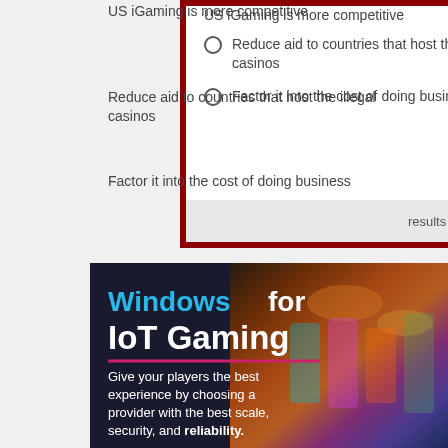US iGaming is more competitive
Reduce aid to countries that host the illegal casinos
Factor it into the cost of doing business
[Figure (screenshot): Poll widget with radio buttons and results/vote buttons at bottom]
[Figure (infographic): Windows for IoT Gaming advertisement banner with dark background showing casino slot machines. Text reads: Windows for IoT Gaming. Give your players the best experience by choosing a provider with the best scale, security, and reliability.]